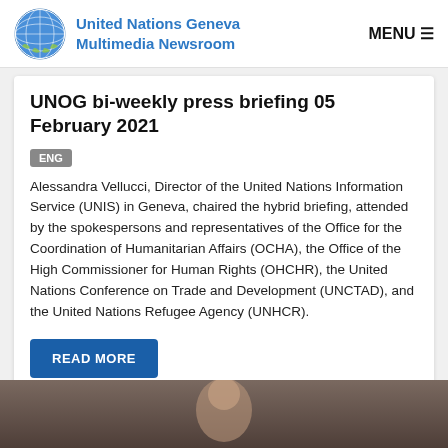United Nations Geneva Multimedia Newsroom
UNOG bi-weekly press briefing 05 February 2021
ENG
Alessandra Vellucci, Director of the United Nations Information Service (UNIS) in Geneva, chaired the hybrid briefing, attended by the spokespersons and representatives of the Office for the Coordination of Humanitarian Affairs (OCHA), the Office of the High Commissioner for Human Rights (OHCHR), the United Nations Conference on Trade and Development (UNCTAD), and the United Nations Refugee Agency (UNHCR).
READ MORE
[Figure (photo): Partial view of a person, appearing to be a photo strip at the bottom of the page]